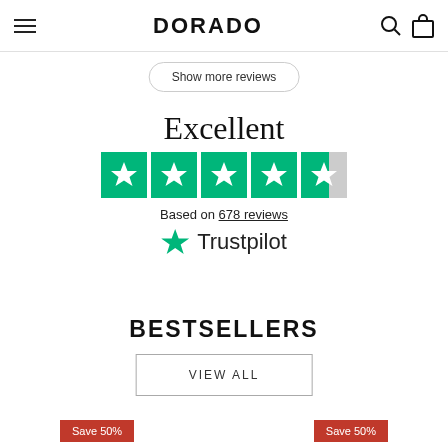DORADO
Show more reviews
Excellent
[Figure (other): Five Trustpilot green star rating boxes showing 4.5 out of 5 stars]
Based on 678 reviews
[Figure (logo): Trustpilot logo with green star and text]
BESTSELLERS
VIEW ALL
Save 50%
Save 50%